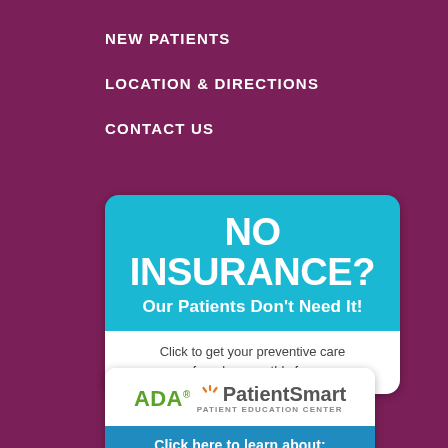NEW PATIENTS
LOCATION & DIRECTIONS
CONTACT US
[Figure (infographic): Banner ad with teal background showing 'NO INSURANCE?' in large white bold text, subtitle 'Our Patients Don't Need It!' and white bottom section with text 'Click to get your preventive care for a low monthly fee']
[Figure (logo): ADA PatientSmart Patient Education Center logo with green ADA text and orange sunburst, followed by a blue banner saying 'Click here to learn about:']